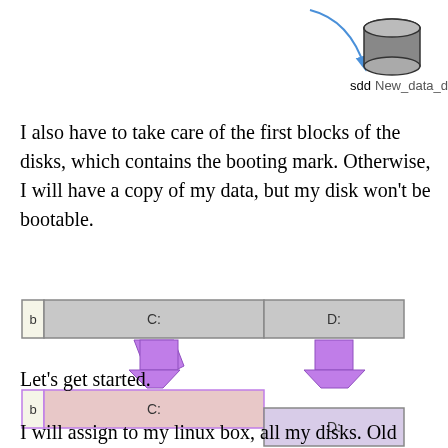[Figure (schematic): Diagram showing a blue arrow pointing to a cylinder (disk) icon labeled 'sdd  New_data_disk.vmdk']
I also have to take care of the first blocks of the disks, which contains the booting mark. Otherwise, I will have a copy of my data, but my disk won't be bootable.
[Figure (schematic): Diagram showing a top row with partitions labeled 'b', 'C:', 'D:', two purple downward arrows, and a bottom row with 'b', 'C:' and a separate 'D:' box below, representing disk partitioning layout.]
Let's get started.
I will assign to my linux box, all my disks. Old